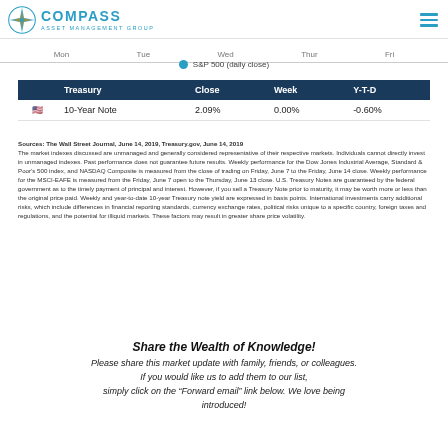Compass Asset Management Group
[Figure (other): Day-of-week axis labels (Mon, Tue, Wed, Thur, Fri) and S&P 500 daily close legend dot]
|  | Treasury | Close | Week | Y-T-D |
| --- | --- | --- | --- | --- |
| 🇺🇸 | 10-Year Note | 2.09% | 0.00% | -0.60% |
Sources: The Wall Street Journal, June 14, 2019, Treasury.gov, June 14, 2019
The market indexes discussed are unmanaged and generally considered representative of their respective markets. Individuals cannot directly invest in unmanaged indexes. Past performance does not guarantee future results. Weekly performance for the Dow Jones Industrial Average, Standard & Poor's 500 index, and NASDAQ Composite is measured from the close of trading on Friday, June 7 to the Friday, June 14 close. Weekly performance for the MSCI-EAFE is measured from the Friday, June 7 open to the Thursday, June 13 close. U.S. Treasury Notes are guaranteed by the federal government as to the timely payment of principal and interest. However, if you sell a Treasury Note prior to maturity, it may be worth more or less than the original price paid. Weekly and year-to-date 10-year Treasury note yield are expressed in basis points. International investments carry additional risks, which include differences in financial reporting standards, currency exchange rates, political risks unique to a specific country, foreign taxes and regulations, and the potential for illiquid markets. These factors may result in greater share price volatility.
Share the Wealth of Knowledge!
Please share this market update with family, friends, or colleagues.
If you would like us to add them to our list,
simply click on the “Forward email” link below. We love being introduced!